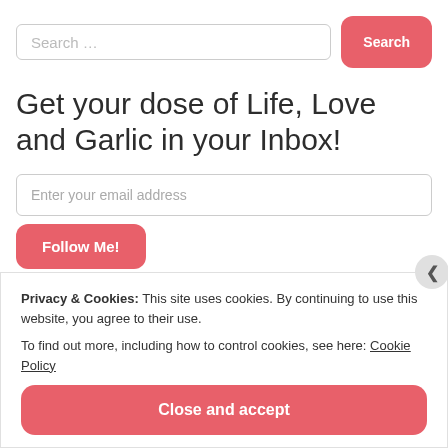[Figure (screenshot): Search bar with text input field showing 'Search ...' placeholder and a pink rounded 'Search' button]
Get your dose of Life, Love and Garlic in your Inbox!
[Figure (screenshot): Email subscription form with 'Enter your email address' input field and pink 'Follow Me!' button]
Recent Tags
Privacy & Cookies: This site uses cookies. By continuing to use this website, you agree to their use.
To find out more, including how to control cookies, see here: Cookie Policy
Close and accept